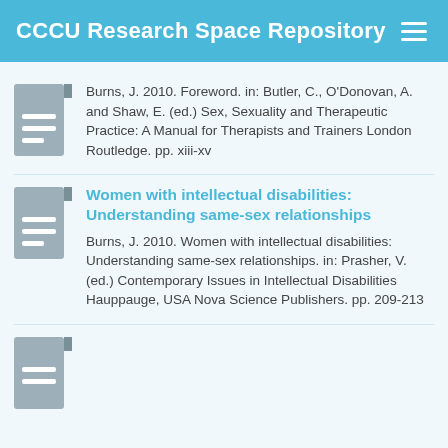CCCU Research Space Repository
Burns, J. 2010. Foreword. in: Butler, C., O'Donovan, A. and Shaw, E. (ed.) Sex, Sexuality and Therapeutic Practice: A Manual for Therapists and Trainers London Routledge. pp. xiii-xv
Women with intellectual disabilities: Understanding same-sex relationships
Burns, J. 2010. Women with intellectual disabilities: Understanding same-sex relationships. in: Prasher, V. (ed.) Contemporary Issues in Intellectual Disabilities Hauppauge, USA Nova Science Publishers. pp. 209-213